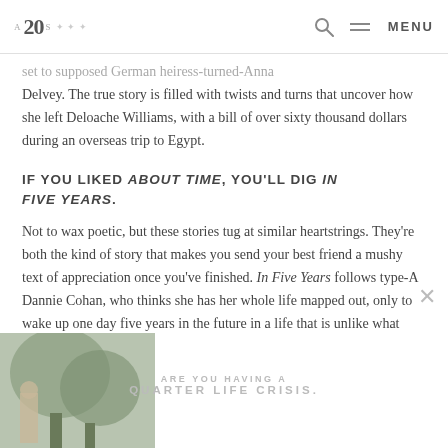A 20 S — [logo with decorative leaves] — [search icon] — MENU
...set to supposed German heiress-turned-Anna Delvey. The true story is filled with twists and turns that uncover how she left Deloache Williams, with a bill of over sixty thousand dollars during an overseas trip to Egypt.
IF YOU LIKED ABOUT TIME, YOU'LL DIG IN FIVE YEARS.
Not to wax poetic, but these stories tug at similar heartstrings. They're both the kind of story that makes you send your best friend a mushy text of appreciation once you've finished. In Five Years follows type-A Dannie Cohan, who thinks she has her whole life mapped out, only to wake up one day five years in the future in a life that is unlike what
ARE YOU HAVING A QUARTER LIFE CRISIS.